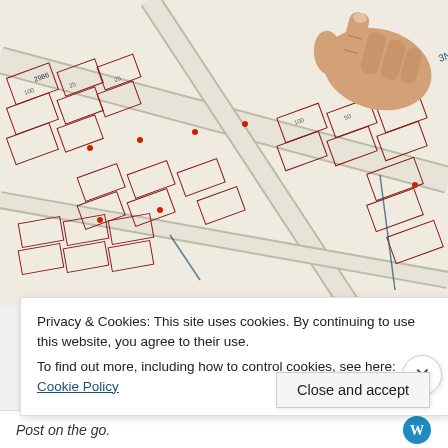[Figure (photo): A hand pointing at a detailed printed cadastral/plat map showing property lots, street names, and parcel numbers in red and black ink. Street numbers like 2986, 2982, 4N, 3N are visible on the map.]
Privacy & Cookies: This site uses cookies. By continuing to use this website, you agree to their use.
To find out more, including how to control cookies, see here: Cookie Policy
Close and accept
Post on the go.